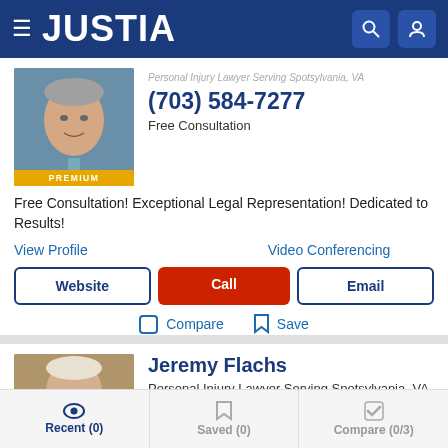JUSTIA
Personal Injury Lawyer Serving Spotsylvania, VA
(703) 584-7277
Free Consultation
PREMIUM
Free Consultation! Exceptional Legal Representation! Dedicated to Results!
View Profile
Video Conferencing
Website
Call
Email
Compare
Save
Jeremy Flachs
Personal Injury Lawyer Serving Spotsylvania, VA
Recent (0)  Saved (0)  Compare (0/3)